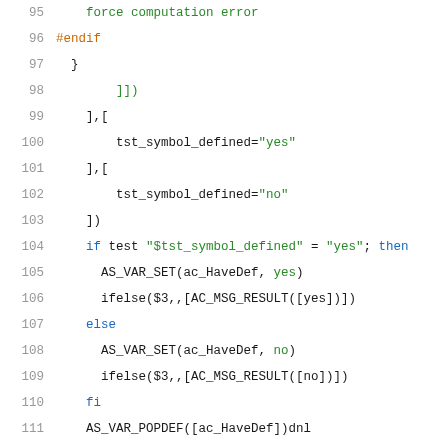[Figure (screenshot): Source code listing showing lines 95-116 of a shell/m4 script with syntax highlighting. Line numbers in gray on the left, keywords in blue and green, string values in green/orange.]